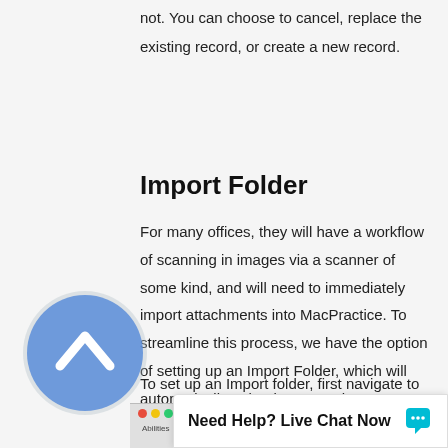not. You can choose to cancel, replace the existing record, or create a new record.
Import Folder
For many offices, they will have a workflow of scanning in images via a scanner of some kind, and will need to immediately import attachments into MacPractice. To streamline this process, we have the option of setting up an Import Folder, which will automatically upload any attachments placed in the folder directly into MacPractice.
To set up an Import folder, first navigate to the MacPractice Menu > Preferences > Attachments.
[Figure (screenshot): Bottom portion of page showing a back-to-top scroll button (blue circle with white chevron) and a screenshot strip of a MacPractice application window with red/yellow/green window controls.]
[Figure (infographic): Need Help? Live Chat Now banner with chat bubble icon in teal/blue.]